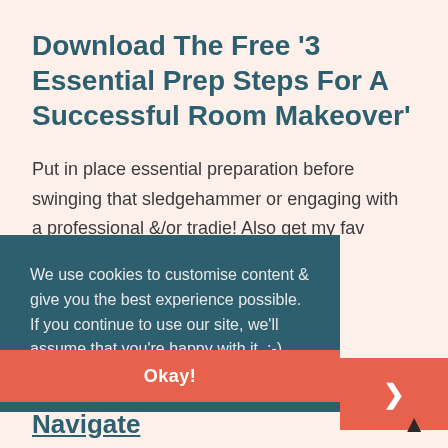Download The Free '3 Essential Prep Steps For A Successful Room Makeover'
Put in place essential preparation before swinging that sledgehammer or engaging with a professional &/or tradie! Also get my fav m makeover pagne on a
We use cookies to customise content & give you the best experience possible. If you continue to use our site, we'll assume that you're happy with it. :-)
Read More
Okay!
Navigate